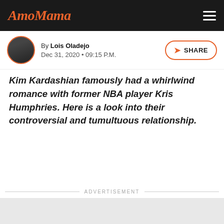AmoMama
By Lois Oladejo
Dec 31, 2020 • 09:15 P.M.
Kim Kardashian famously had a whirlwind romance with former NBA player Kris Humphries. Here is a look into their controversial and tumultuous relationship.
ADVERTISEMENT